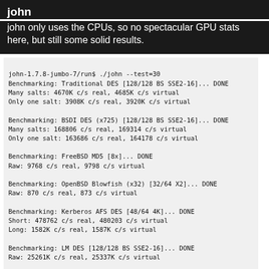john
john only uses the CPUs, so no spectacular GPU stats here, but still some solid results.
john-1.7.8-jumbo-7/run$ ./john --test=30
Benchmarking: Traditional DES [128/128 BS SSE2-16]... DONE
Many salts: 4670K c/s real, 4685K c/s virtual
Only one salt: 3908K c/s real, 3920K c/s virtual

Benchmarking: BSDI DES (x725) [128/128 BS SSE2-16]... DONE
Many salts: 168806 c/s real, 169314 c/s virtual
Only one salt: 163686 c/s real, 164178 c/s virtual

Benchmarking: FreeBSD MD5 [8x]... DONE
Raw: 9768 c/s real, 9798 c/s virtual

Benchmarking: OpenBSD Blowfish (x32) [32/64 X2]... DONE
Raw: 870 c/s real, 873 c/s virtual

Benchmarking: Kerberos AFS DES [48/64 4K]... DONE
Short: 478762 c/s real, 480203 c/s virtual
Long: 1582K c/s real, 1587K c/s virtual

Benchmarking: LM DES [128/128 BS SSE2-16]... DONE
Raw: 25261K c/s real, 25337K c/s virtual